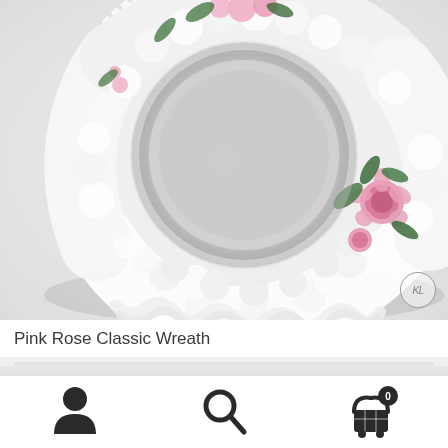[Figure (photo): A circular funeral wreath made of dense white chrysanthemums and carnations, with pink roses and green foliage accents, finished with white satin ribbon edging. A KL watermark circle appears in the bottom-right corner of the image.]
Pink Rose Classic Wreath
[Figure (photo): Partial view of another product card below, showing a light grey/white background, partially cut off.]